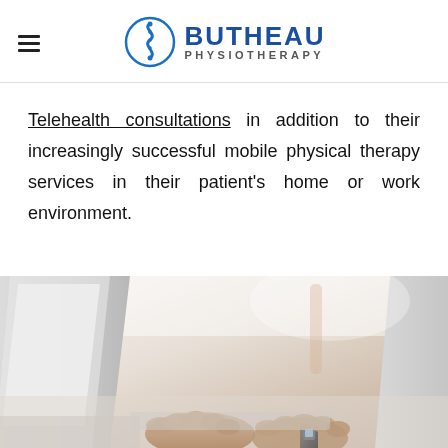Butheau Physiotherapy
Telehealth consultations in addition to their increasingly successful mobile physical therapy services in their patient's home or work environment.
[Figure (photo): Photo of a person typing on a laptop keyboard, shown from above at an angle, bright and light background suggesting a telehealth or remote consultation setting.]